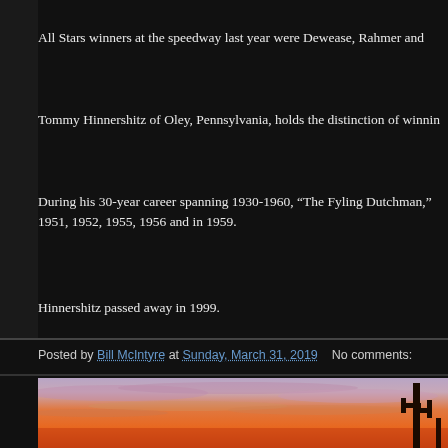All Stars winners at the speedway last year were Dewease, Rahmer and
Tommy Hinnershitz of Oley, Pennsylvania, holds the distinction of winnin
During his 30-year career spanning 1930-1960, “The Fyling Dutchman,” 1951, 1952, 1955, 1956 and in 1959.
Hinnershitz passed away in 1999.
Posted by Bill McIntyre at Sunday, March 31, 2019   No comments:
[Figure (photo): Sunset sky with orange and purple clouds, cactus silhouettes on right]